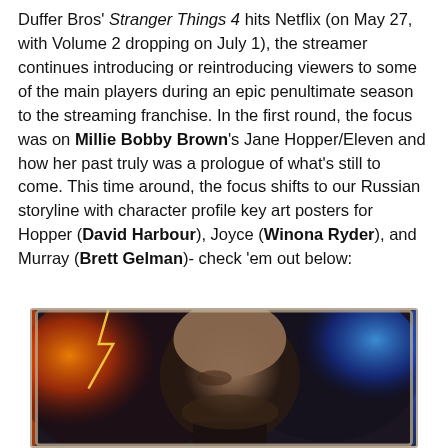Duffer Bros' Stranger Things 4 hits Netflix (on May 27, with Volume 2 dropping on July 1), the streamer continues introducing or reintroducing viewers to some of the main players during an epic penultimate season to the streaming franchise. In the first round, the focus was on Millie Bobby Brown's Jane Hopper/Eleven and how her past truly was a prologue of what's still to come. This time around, the focus shifts to our Russian storyline with character profile key art posters for Hopper (David Harbour), Joyce (Winona Ryder), and Murray (Brett Gelman)- check 'em out below:
[Figure (photo): Character profile key art poster for Hopper from Stranger Things 4. A man with a shaved head and stubble looks intensely at the camera. The left half of the background shows dramatic fire and lightning in orange and red tones, while the right half shows a deep blue cosmic/starfield. The image has a parchment-style border.]